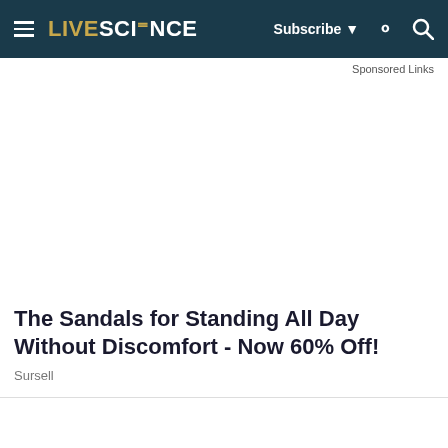LIVESCIENCE | Subscribe | Search
Sponsored Links
[Figure (other): Advertisement placeholder area (white space)]
The Sandals for Standing All Day Without Discomfort - Now 60% Off!
Sursell